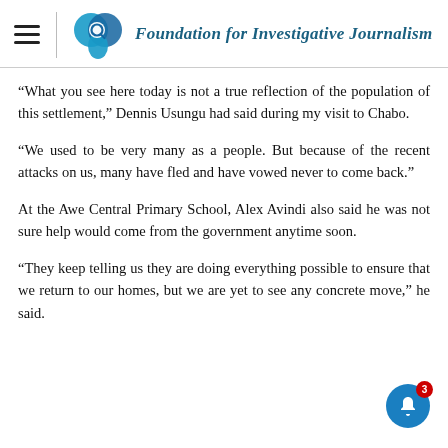Foundation for Investigative Journalism
“What you see here today is not a true reflection of the population of this settlement,” Dennis Usungu had said during my visit to Chabo.
“We used to be very many as a people. But because of the recent attacks on us, many have fled and have vowed never to come back.”
At the Awe Central Primary School, Alex Avindi also said he was not sure help would come from the government anytime soon.
“They keep telling us they are doing everything possible to ensure that we return to our homes, but we are yet to see any concrete move,” he said.